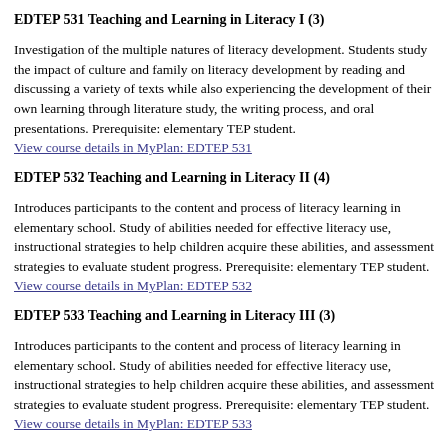EDTEP 531 Teaching and Learning in Literacy I (3)
Investigation of the multiple natures of literacy development. Students study the impact of culture and family on literacy development by reading and discussing a variety of texts while also experiencing the development of their own learning through literature study, the writing process, and oral presentations. Prerequisite: elementary TEP student.
View course details in MyPlan: EDTEP 531
EDTEP 532 Teaching and Learning in Literacy II (4)
Introduces participants to the content and process of literacy learning in elementary school. Study of abilities needed for effective literacy use, instructional strategies to help children acquire these abilities, and assessment strategies to evaluate student progress. Prerequisite: elementary TEP student.
View course details in MyPlan: EDTEP 532
EDTEP 533 Teaching and Learning in Literacy III (3)
Introduces participants to the content and process of literacy learning in elementary school. Study of abilities needed for effective literacy use, instructional strategies to help children acquire these abilities, and assessment strategies to evaluate student progress. Prerequisite: elementary TEP student.
View course details in MyPlan: EDTEP 533
EDTEP 541 Dimensions of Teaching and Learning in...